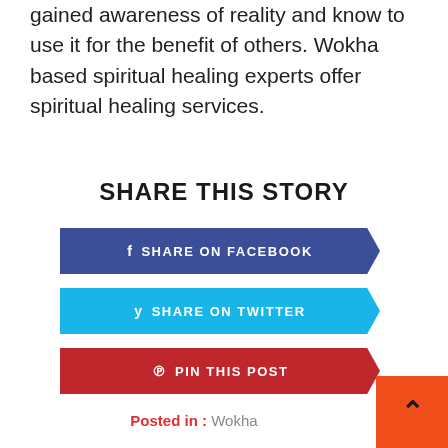gained awareness of reality and know to use it for the benefit of others. Wokha based spiritual healing experts offer spiritual healing services.
SHARE THIS STORY
[Figure (infographic): Share on Facebook button (dark blue parallelogram shape)]
[Figure (infographic): Share on Twitter button (cyan/light blue parallelogram shape)]
[Figure (infographic): Pin This Post button (red parallelogram shape)]
Posted in : Wokha
[Figure (other): Scroll to top button (orange square with upward arrow)]